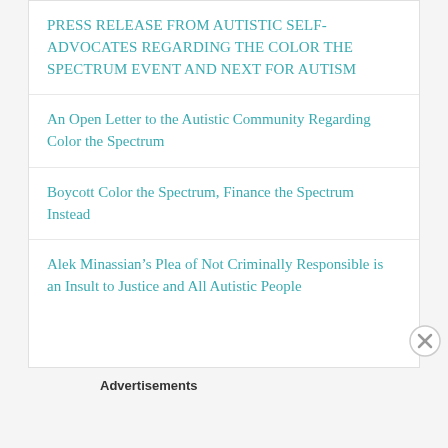PRESS RELEASE FROM AUTISTIC SELF-ADVOCATES REGARDING THE COLOR THE SPECTRUM EVENT AND NEXT FOR AUTISM
An Open Letter to the Autistic Community Regarding Color the Spectrum
Boycott Color the Spectrum, Finance the Spectrum Instead
Alek Minassian’s Plea of Not Criminally Responsible is an Insult to Justice and All Autistic People
Advertisements